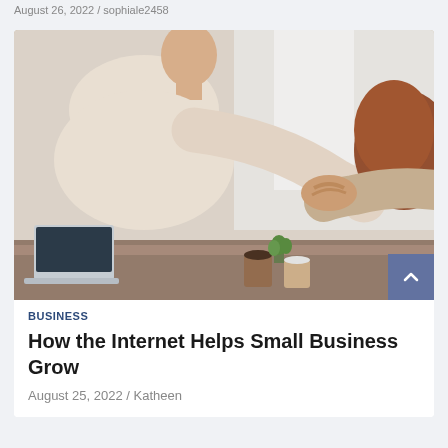August 26, 2022 / sophiale2458
[Figure (photo): Two people shaking hands across a desk with a laptop, coffee cups, and small plant in the background]
BUSINESS
How the Internet Helps Small Business Grow
August 25, 2022 / Katheen